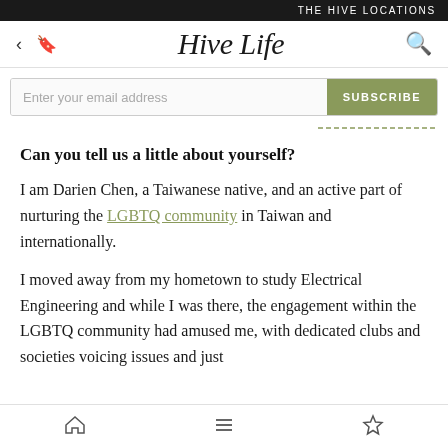THE HIVE LOCATIONS
Hive Life
Enter your email address  SUBSCRIBE
Can you tell us a little about yourself?
I am Darien Chen, a Taiwanese native, and an active part of nurturing the LGBTQ community in Taiwan and internationally.
I moved away from my hometown to study Electrical Engineering and while I was there, the engagement within the LGBTQ community had amused me, with dedicated clubs and societies voicing issues and just
Home  Menu  Bookmark